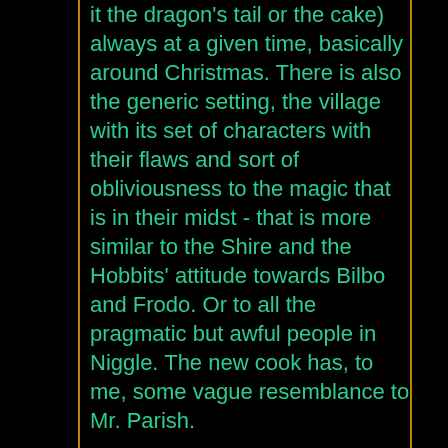it the dragon's tail or the cake) always at a given time, basically around Christmas. There is also the generic setting, the village with its set of characters with their flaws and sort of obliviousness to the magic that is in their midst - that is more similar to the Shire and the Hobbits' attitude towards Bilbo and Frodo. Or to all the pragmatic but awful people in Niggle. The new cook has, to me, some vague resemblance to Mr. Parish.

The most striking in the opening paraghraphs is probably the old Cook's departure, which is without reservation comparable to Bilbo's. "Tell them that I am taking a longer holiday and that I am not coming back" - does this even need to be elaborated on in any way? And I am pretty sure the parallels don't end there. I recall, for one, the scene